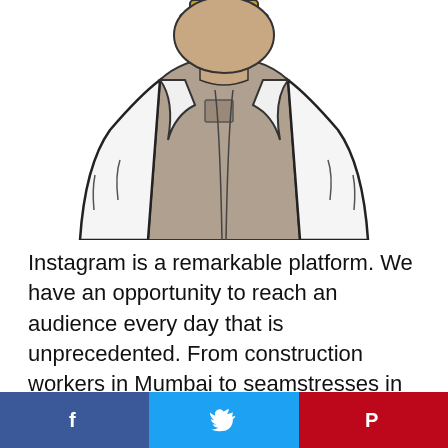[Figure (illustration): Illustration of a person wearing a white jacket/blazer over a grey shirt, shown from the torso up. The figure appears to be a stylized cartoon/comic-style drawing.]
Instagram is a remarkable platform. We have an opportunity to reach an audience every day that is unprecedented. From construction workers in Mumbai to seamstresses in Moldova. On Instagram we are all each other's audience. It is an avenue to unite, communicate, advertise, love and encourage.  These are all positive attributes of this platform to be appreciated and used to our
[Figure (infographic): Social media sharing bar with three buttons: Facebook (blue, f icon), Twitter (light blue, bird icon), Pinterest (red, P icon)]